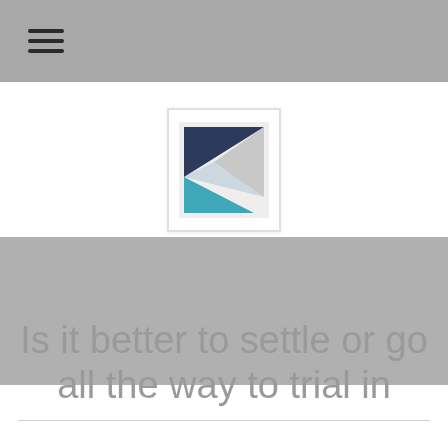☰ (hamburger menu icon)
[Figure (logo): Law firm logo: a square with geometric triangle shapes in dark navy blue, light gray, and teal/cyan colors forming a K-like abstract mark]
Is it better to settle or go all the way to trial in